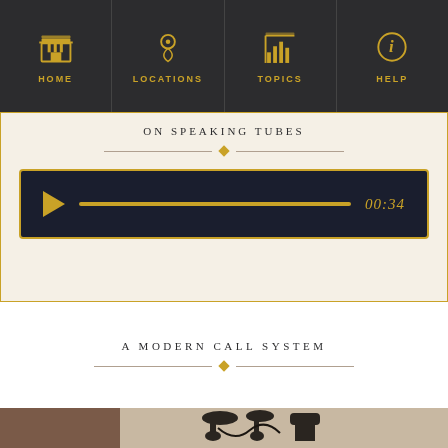HOME | LOCATIONS | TOPICS | HELP
ON SPEAKING TUBES
[Figure (screenshot): Audio player with play button, progress bar, and time display showing 00:34]
A MODERN CALL SYSTEM
[Figure (photo): Photograph of antique black metal speaking tube hardware/call system components against a light background]